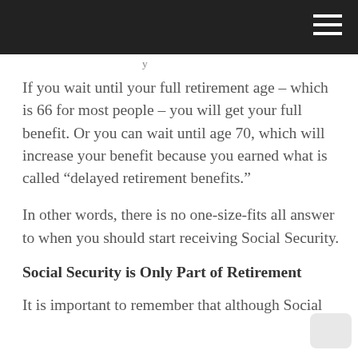If you wait until your full retirement age – which is 66 for most people – you will get your full benefit. Or you can wait until age 70, which will increase your benefit because you earned what is called “delayed retirement benefits.”
In other words, there is no one-size-fits all answer to when you should start receiving Social Security.
Social Security is Only Part of Retirement
It is important to remember that although Social